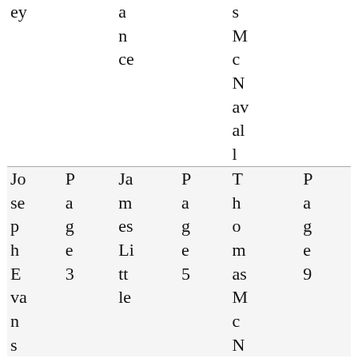| ey |  | a
n
ce |  | s
M
c
N
av
al
l |  |
| Joseph
Evans | Page
3 | James
Little | Page
5 | Thomas
McN | Page
9 |